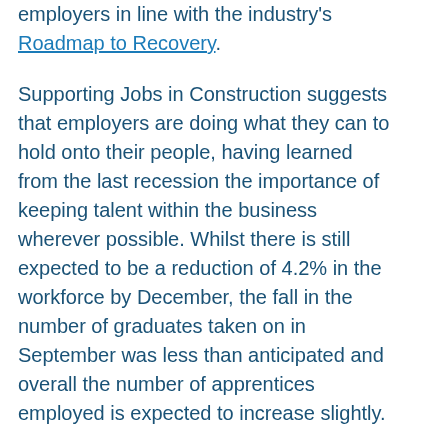employers in line with the industry's Roadmap to Recovery.
Supporting Jobs in Construction suggests that employers are doing what they can to hold onto their people, having learned from the last recession the importance of keeping talent within the business wherever possible. Whilst there is still expected to be a reduction of 4.2% in the workforce by December, the fall in the number of graduates taken on in September was less than anticipated and overall the number of apprentices employed is expected to increase slightly.
Listed up front in the report the data highlights the following: